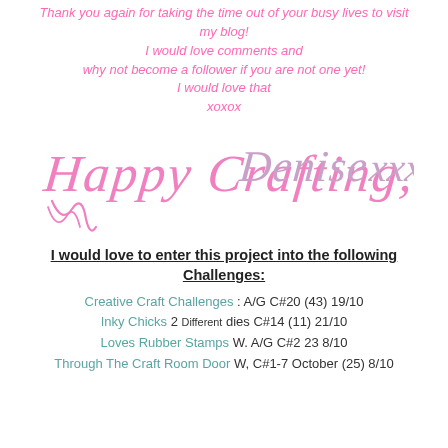Thank you again for taking the time out of your busy lives to visit my blog!
I would love comments and
why not become a follower if you are not one yet!
I would love that
xoxox
[Figure (illustration): Handwritten cursive signature in pink reading 'Happy Crafting, Denise xxx']
I would love to enter this project into the following Challenges:
Creative Craft Challenges : A/G C#20 (43) 19/10
Inky Chicks 2 Different dies C#14 (11) 21/10
Loves Rubber Stamps W. A/G C#2 23 8/10
Through The Craft Room Door W, C#1-7 October (25) 8/10